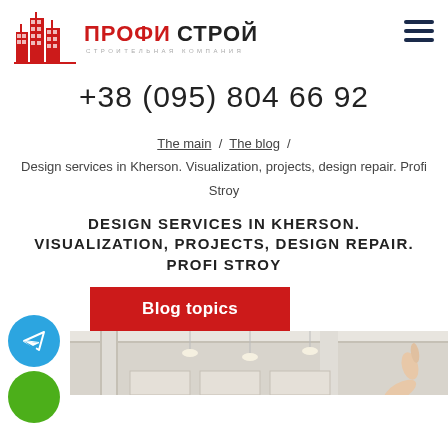[Figure (logo): Profi Stroy construction company logo with red building icons and Cyrillic text ПРОФИ СТРОЙ]
+38 (095) 804 66 92
The main / The blog / Design services in Kherson. Visualization, projects, design repair. Profi Stroy
DESIGN SERVICES IN KHERSON. VISUALIZATION, PROJECTS, DESIGN REPAIR. PROFI STROY
Blog topics
[Figure (photo): Interior room design visualization showing ceiling details, pendant lights, columns and a hand pointing]